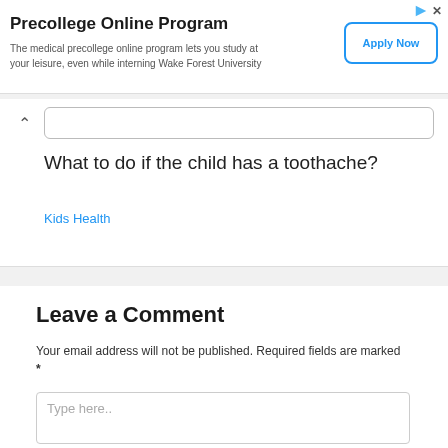[Figure (screenshot): Advertisement banner for Precollege Online Program with Apply Now button]
Precollege Online Program
The medical precollege online program lets you study at your leisure, even while interning Wake Forest University
What to do if the child has a toothache?
Kids Health
Leave a Comment
Your email address will not be published. Required fields are marked *
Type here..